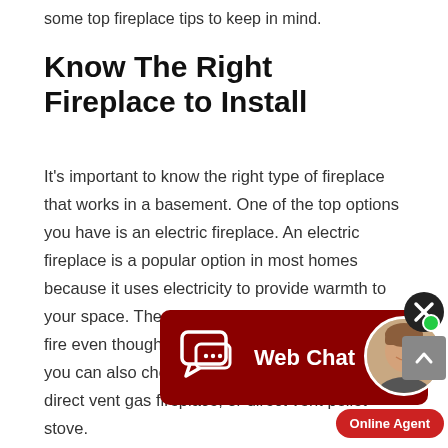some top fireplace tips to keep in mind.
Know The Right Fireplace to Install
It's important to know the right type of fireplace that works in a basement. One of the top options you have is an electric fireplace. An electric fireplace is a popular option in most homes because it uses electricity to provide warmth to your space. The wonderful thing about electric fire[place…] even though the […] electric fireplace, you can also choose a direct vent fireplace, a direct vent gas fireplace, or direct vent pellet stove.
[Figure (screenshot): Web Chat overlay widget with dark red background, chat bubble icon, and 'Web Chat' label in white text.]
[Figure (photo): Online Agent avatar — woman smiling, with green online indicator dot and red 'Online Agent' button below.]